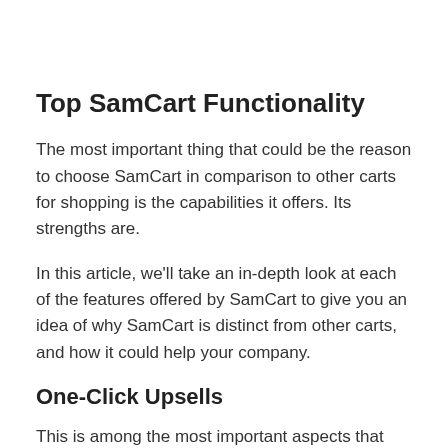Top SamCart Functionality
The most important thing that could be the reason to choose SamCart in comparison to other carts for shopping is the capabilities it offers. Its strengths are.
In this article, we’ll take an in-depth look at each of the features offered by SamCart to give you an idea of why SamCart is distinct from other carts, and how it could help your company.
One-Click Upsells
This is among the most important aspects that